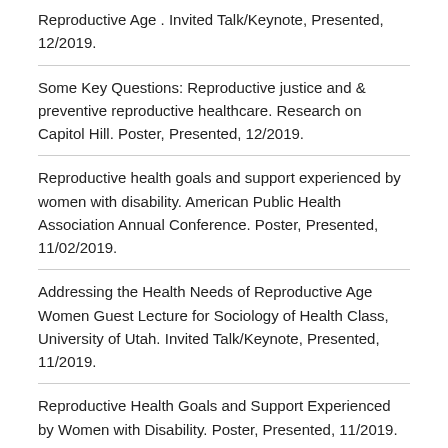Reproductive Age . Invited Talk/Keynote, Presented, 12/2019.
Some Key Questions: Reproductive justice and & preventive reproductive healthcare. Research on Capitol Hill. Poster, Presented, 12/2019.
Reproductive health goals and support experienced by women with disability. American Public Health Association Annual Conference. Poster, Presented, 11/02/2019.
Addressing the Health Needs of Reproductive Age Women Guest Lecture for Sociology of Health Class, University of Utah. Invited Talk/Keynote, Presented, 11/2019.
Reproductive Health Goals and Support Experienced by Women with Disability. Poster, Presented, 11/2019.